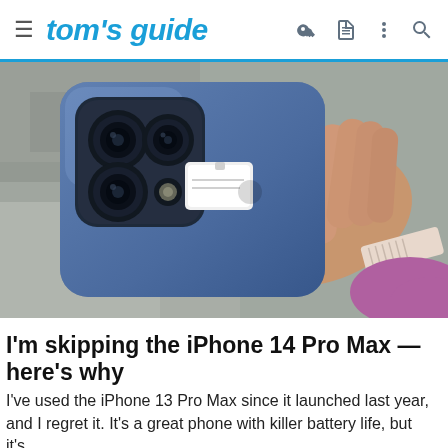tom's guide
[Figure (photo): Hand holding the back of a blue iPhone 14 Pro Max showing triple camera system, with a white tag/sticker on the back. The person is also wearing a light pink watch band on their wrist.]
I'm skipping the iPhone 14 Pro Max — here's why
I've used the iPhone 13 Pro Max since it launched last year, and I regret it. It's a great phone with killer battery life, but it's…